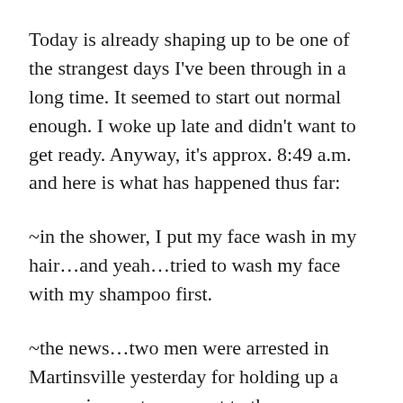Today is already shaping up to be one of the strangest days I've been through in a long time. It seemed to start out normal enough. I woke up late and didn't want to get ready. Anyway, it's approx. 8:49 a.m. and here is what has happened thus far:
~in the shower, I put my face wash in my hair...and yeah...tried to wash my face with my shampoo first.
~the news...two men were arrested in Martinsville yesterday for holding up a convenience store...next to the SHERRIF'S office.
~leaving the apartment this morning was like